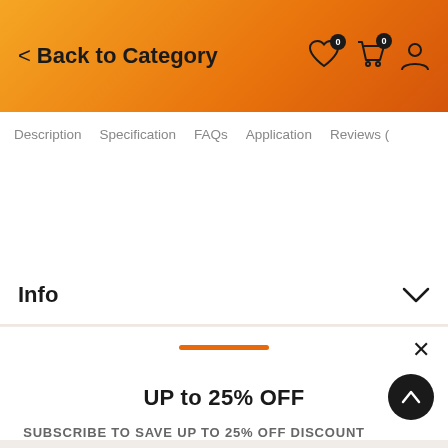Back to Category
Description   Specification   FAQs   Application   Reviews (
Info
UP to 25% OFF
SUBSCRIBE TO SAVE UP TO 25% OFF DISCOUNT FOR YOUR ORDER